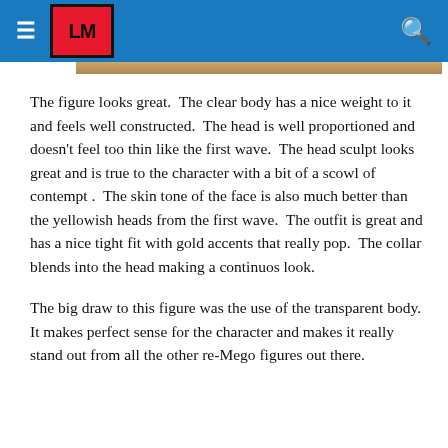LM logo and navigation header
The figure looks great.  The clear body has a nice weight to it and feels well constructed.  The head is well proportioned and doesn't feel too thin like the first wave.  The head sculpt looks great and is true to the character with a bit of a scowl of contempt .  The skin tone of the face is also much better than the yellowish heads from the first wave.  The outfit is great and has a nice tight fit with gold accents that really pop.  The collar blends into the head making a continuos look.
The big draw to this figure was the use of the transparent body.  It makes perfect sense for the character and makes it really stand out from all the other re-Mego figures out there.